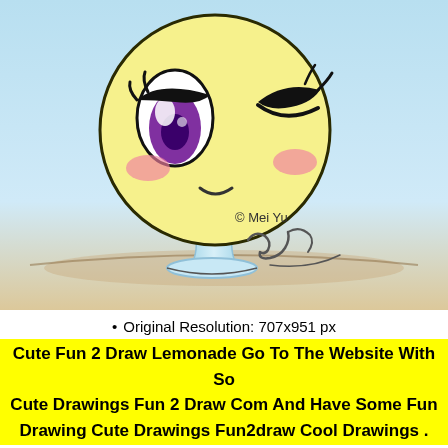[Figure (illustration): Cute kawaii-style anime illustration of a lemon character with a round yellow head, one large purple eye with white highlight, one closed winking eye, pink blush marks on cheeks, small smile, black eyebrows, sitting on a light blue lemonade glass/stand shape. Signed '© Mei Yu' with a handwritten signature. Background is light blue gradient fading to sandy beige at the bottom.]
Original Resolution: 707x951 px
Cute Fun 2 Draw Lemonade Go To The Website With So Cute Drawings Fun 2 Draw Com And Have Some Fun Drawing Cute Drawings Fun2draw Cool Drawings .